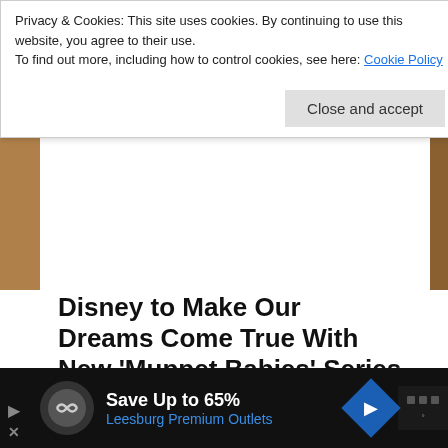Privacy & Cookies: This site uses cookies. By continuing to use this website, you agree to their use.
To find out more, including how to control cookies, see here: Cookie Policy
Close and accept
Disney to Make Our Dreams Come True With New ‘Muppet Babies’ Series
November 4, 2016   Tony Nunes
Last week, I found joy in announcing the return of ‘Fraggle Rock’ to HBO, and this week, diehard Jim Henson fans can rejoice once more with news that Disney is creating a new ‘Muppet Babies’ series for Disney Junior.
Continue Reading
Save Up to 65%
Leesburg Premium Outlets